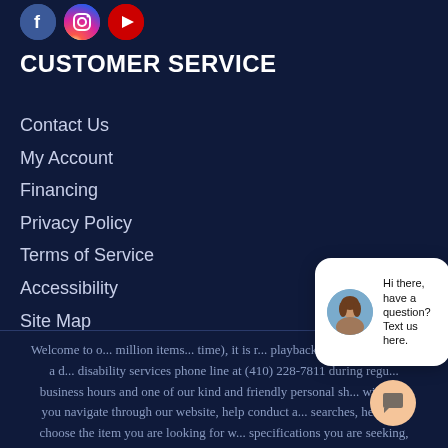[Figure (illustration): Three social media icon circles: Facebook (blue), Instagram (gradient), YouTube (red) at the top left]
CUSTOMER SERVICE
Contact Us
My Account
Financing
Privacy Policy
Terms of Service
Accessibility
Site Map
[Figure (screenshot): Chat popup overlay with avatar photo of a woman and text 'Hi there, have a question? Text us here.' with a close button and chat bubble icon]
Welcome to o... million items... time), it is r... playback the des... you have a d... disability services phone line at (410) 228-7811 during regu... business hours and one of our kind and friendly personal sh... will help you navigate through our website, help conduct a... searches, help you choose the item you are looking for w... specifications you are seeking, read you the specifications o... item and consult with you about the products themselves. There is no charge for the help of this personal shopper for anyone tha...